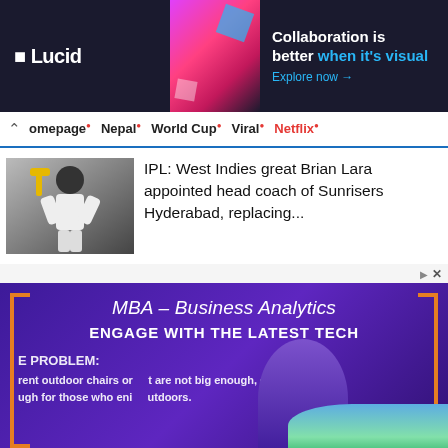[Figure (screenshot): Lucid advertisement banner: dark navy background with Lucid logo on left, colorful image in center, and text 'Collaboration is better when it's visual. Explore now →' on right]
Homepage · Nepal · World Cup · Viral · Netflix
[Figure (photo): Cricket player (Brian Lara) raising bat/gloves, crowd in background, black and white photo]
IPL: West Indies great Brian Lara appointed head coach of Sunrisers Hyderabad, replacing...
[Figure (screenshot): MBA – Business Analytics advertisement: purple gradient background with orange bracket decorations, text 'MBA – Business Analytics' and 'ENGAGE WITH THE LATEST TECH', background text about outdoor chairs, person with curly hair in foreground, landscape in corner]
We use cookies to help us improve your experience on the site.
Cookies & Policies    Ok, I accept policy